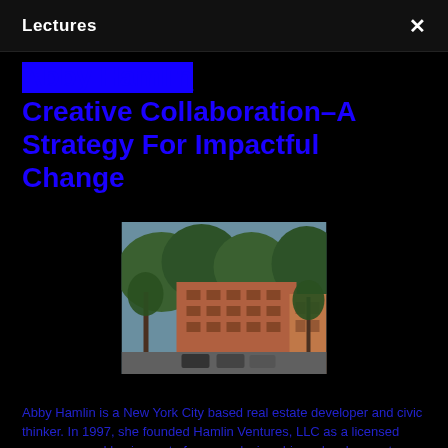Lectures
Abby Hamlin
Creative Collaboration–A Strategy For Impactful Change
[Figure (photo): Photograph of a red brick urban building with trees on a city street, likely a New York City neighborhood.]
Abby Hamlin is a New York City based real estate developer and civic thinker. In 1997, she founded Hamlin Ventures, LLC as a licensed woman-owned business, to focus on design-driven development projects that engage urban issues. Her award-